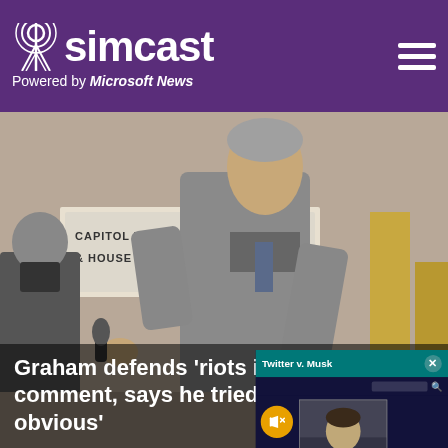simcast — Powered by Microsoft News
[Figure (photo): Senator walking in Capitol hallway in front of a sign reading 'CAPITOL VISITOR CENTER & HOUSE OFFICE BUILDING', with grey suit and grey hair, a photographer visible behind him.]
[Figure (screenshot): Video popup overlay titled 'Twitter v. Musk' with a muted video showing Kurt Wagner, Bloomberg News Tech Reporter, with a teal title bar and a close button.]
This we
We use them to give you the be
will assume that you are
Co
Graham defends 'riots in the streets' comment, says he tried to 'state the obvious'